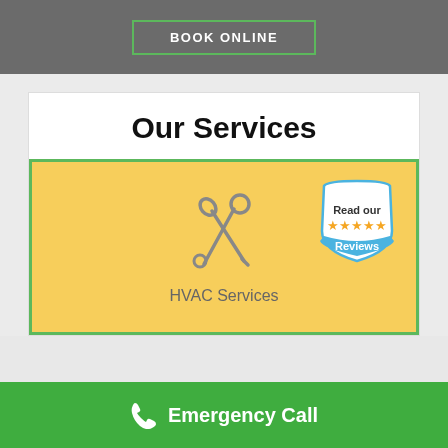BOOK ONLINE
Our Services
[Figure (illustration): Yellow box with wrench and screwdriver crossed icon, labeled HVAC Services, with a review badge showing 5 stars in the top right corner]
HVAC Services
Emergency Call